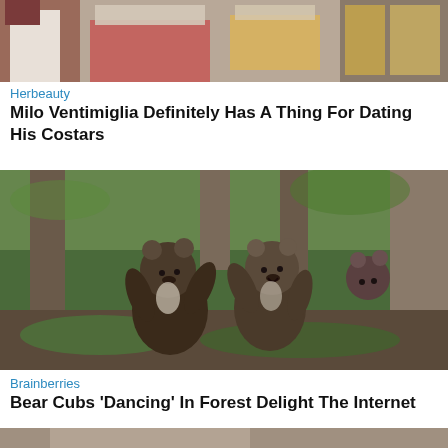[Figure (photo): Partial image at top showing people at what appears to be a food stall or market scene]
Herbeauty
Milo Ventimiglia Definitely Has A Thing For Dating His Costars
[Figure (photo): Two bear cubs standing upright facing each other as if dancing in a forest setting, with trees and greenery in the background, and another bear peeking from the right]
Brainberries
Bear Cubs 'Dancing' In Forest Delight The Internet
[Figure (photo): Partial image at bottom, partially visible]